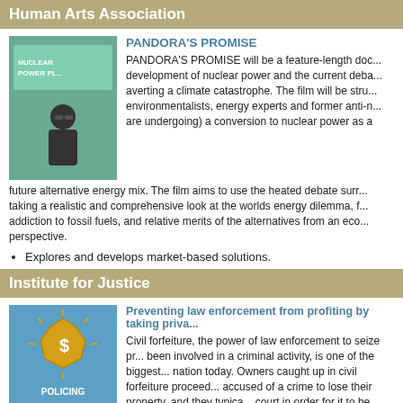Human Arts Association
[Figure (photo): Man in sunglasses standing in front of a nuclear power plant sign]
PANDORA'S PROMISE
PANDORA'S PROMISE will be a feature-length documentary about the history and development of nuclear power and the current debate over its role in averting a climate catastrophe. The film will be structured around environmentalists, energy experts and former anti-nuclear activists who are undergoing) a conversion to nuclear power as a necessary part of the future alternative energy mix. The film aims to use the heated debate surrounding nuclear power as a vehicle for taking a realistic and comprehensive look at the worlds energy dilemma, from our addiction to fossil fuels, and relative merits of the alternatives from an economic and policy perspective.
Explores and develops market-based solutions.
Institute for Justice
[Figure (photo): Policing for Profit book/report cover with gold sheriff badge and dollar sign]
Preventing law enforcement from profiting by taking priva...
Civil forfeiture, the power of law enforcement to seize property suspected of having been involved in a criminal activity, is one of the biggest threats to property rights in the nation today. Owners caught up in civil forfeiture proceedings do not need to be accused of a crime to lose their property, and they typically must go to court in order for it to be returned. In addition, law enforcement agencies keep some or all of the proceeds from these seizures, providing them with incentives...